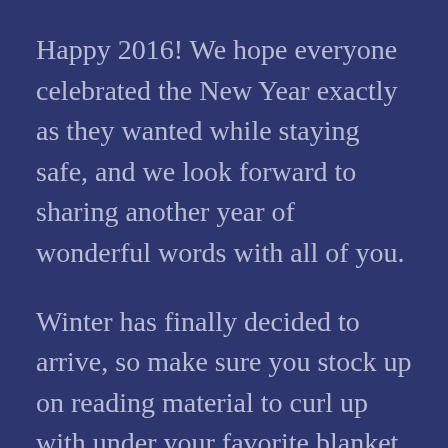Happy 2016! We hope everyone celebrated the New Year exactly as they wanted while staying safe, and we look forward to sharing another year of wonderful words with all of you.
Winter has finally decided to arrive, so make sure you stock up on reading material to curl up with under your favorite blanket, near your favorite heat source, to carry you through the cold. Your little “bigger on the inside” bookstore at 65 James Street has new titles coming in